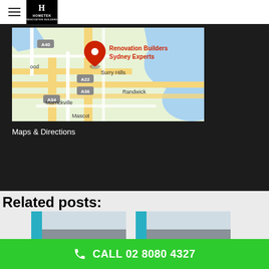Hometek - navigation header with logo
[Figure (map): Google Maps view of Sydney showing Renovation Builders Sydney Experts pin marker near Surry Hills, with roads labeled A40, A22, A36, A34 and suburbs Marrickville, Randwick, Mascot visible]
Maps & Directions
Related posts:
[Figure (photo): Thumbnail image of a modern building with teal/blue vertical bar on left side and grey facade]
[Figure (photo): Thumbnail image of a modern building with teal/blue vertical bar on left side and grey facade]
CALL 02 8080 4327